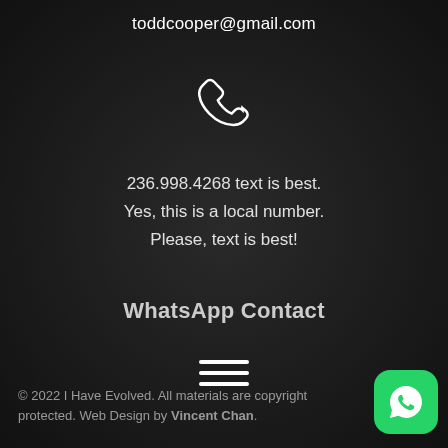toddcooper@gmail.com
[Figure (illustration): White phone/call icon outline]
236.998.4268 text is best.
Yes, this is a local number.
Please, text is best!
WhatsApp Contact
[Figure (illustration): Hamburger menu icon (three horizontal lines)]
© 2022 I Have Evolved. All materials are copyright protected. Web Design by Vincent Chan.
[Figure (illustration): WhatsApp green button icon with chat bubble logo]